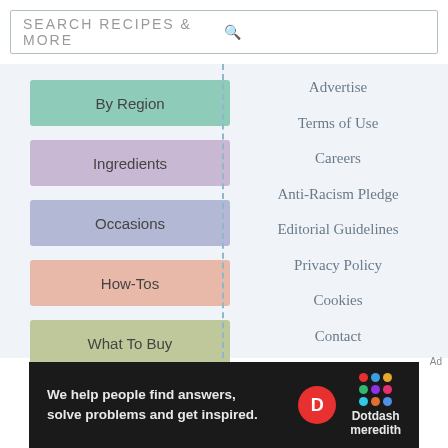SEARCH RECIPES & MORE
By Region
Ingredients
Occasions
How-Tos
What To Buy
Advertise
Terms of Use
Careers
Anti-Racism Pledge
Editorial Guidelines
Privacy Policy
Cookies
Contact
Newsletter
California Privacy Notice
Do Not Sell My Personal
We help people find answers, solve problems and get inspired.
Dotdash meredith